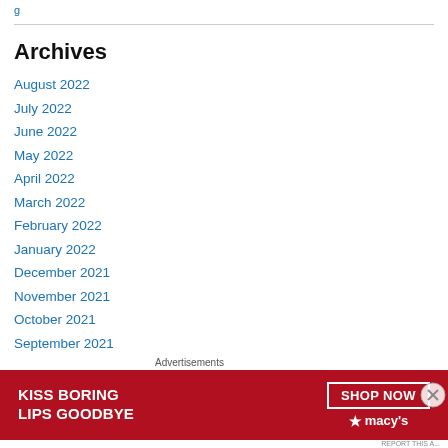Archives
August 2022
July 2022
June 2022
May 2022
April 2022
March 2022
February 2022
January 2022
December 2021
November 2021
October 2021
September 2021
[Figure (other): Macy's advertisement banner: KISS BORING LIPS GOODBYE with SHOP NOW button and Macy's star logo]